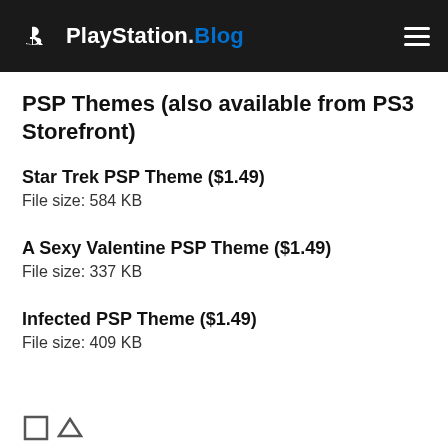PlayStation.Blog
PSP Themes (also available from PS3 Storefront)
Star Trek PSP Theme ($1.49)
File size: 584 KB
A Sexy Valentine PSP Theme ($1.49)
File size: 337 KB
Infected PSP Theme ($1.49)
File size: 409 KB